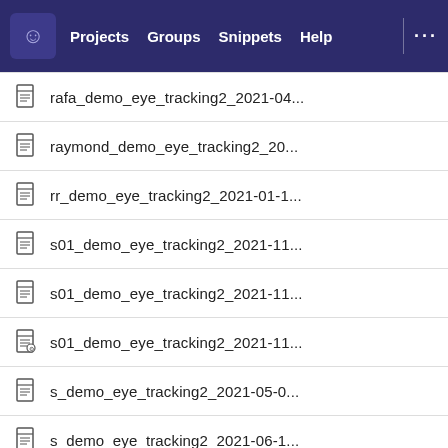Projects  Groups  Snippets  Help
rafa_demo_eye_tracking2_2021-04...
raymond_demo_eye_tracking2_20...
rr_demo_eye_tracking2_2021-01-1...
s01_demo_eye_tracking2_2021-11...
s01_demo_eye_tracking2_2021-11...
s01_demo_eye_tracking2_2021-11...
s_demo_eye_tracking2_2021-05-0...
s_demo_eye_tracking2_2021-06-1...
sd_demo_eye_tracking2_2021-06-...
sd_demo_eye_tracking2_2021-07-...